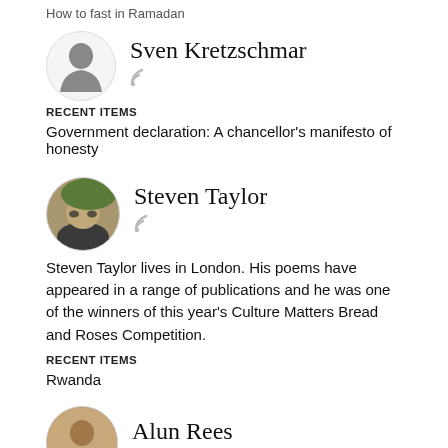How to fast in Ramadan
Sven Kretzschmar
RECENT ITEMS
Government declaration: A chancellor’s manifesto of honesty
Steven Taylor
Steven Taylor lives in London. His poems have appeared in a range of publications and he was one of the winners of this year’s Culture Matters Bread and Roses Competition.
RECENT ITEMS
Rwanda
Alun Rees